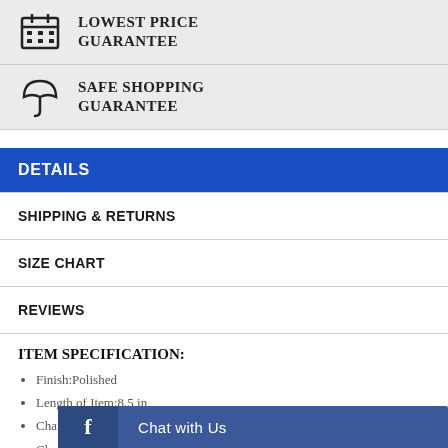[Figure (infographic): Calendar icon for Lowest Price Guarantee]
LOWEST PRICE GUARANTEE
[Figure (infographic): Umbrella icon for Safe Shopping Guarantee]
SAFE SHOPPING GUARANTEE
DETAILS
SHIPPING & RETURNS
SIZE CHART
REVIEWS
ITEM SPECIFICATION:
Finish:Polished
Length of Item:8.5 in
Chain Length:8.5 in
Chain Wi...
Clasp /Co...
Chat with Us